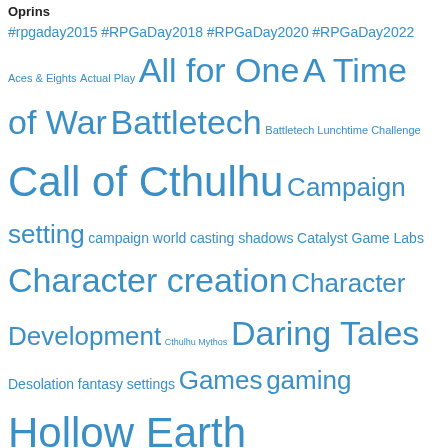Oprins
#rpgaday2015 #RPGaDay2018 #RPGaDay2020 #RPGaDay2022 Aces & Eights Actual Play All for One A Time of War Battletech Battletech Lunchtime Challenge Call of Cthulhu Campaign setting campaign world casting shadows Catalyst Game Labs Character creation Character Development Cthulhu Mythos Daring Tales Desolation fantasy settings Games gaming Hollow Earth Expedition Icons korean peninsula Leagues of Adventure live report Mechwarrior Mythic Britain Mythras Palladium Fantasy Play-by-mail game players playing in games Plot Hooks Plot Ideas Pulp pulp adventures recap role-playing Role-playing game